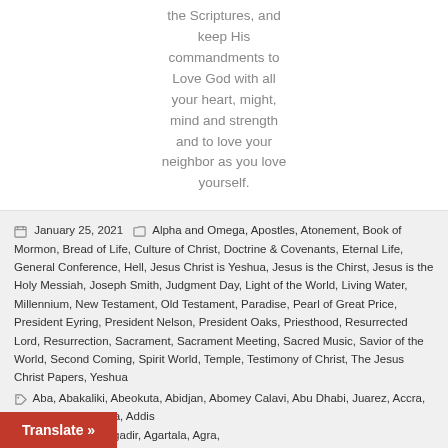the Scriptures, and keep His commandments to Love God with all your heart, might, mind and strength and to love your neighbor as you love yourself.
January 25, 2021  Alpha and Omega, Apostles, Atonement, Book of Mormon, Bread of Life, Culture of Christ, Doctrine & Covenants, Eternal Life, General Conference, Hell, Jesus Christ is Yeshua, Jesus is the Chirst, Jesus is the Holy Messiah, Joseph Smith, Judgment Day, Light of the World, Living Water, Millennium, New Testament, Old Testament, Paradise, Pearl of Great Price, President Eyring, President Nelson, President Oaks, Priesthood, Resurrected Lord, Resurrection, Sacrament, Sacrament Meeting, Sacred Music, Savior of the World, Second Coming, Spirit World, Temple, Testimony of Christ, The Jesus Christ Papers, Yeshua
Aba, Abakaliki, Abeokuta, Abidjan, Abomey Calavi, Abu Dhabi, Juarez, Accra, Ad Dammam, Adana, Addis den, Afghanistan, Agadir, Agartala, Agra,